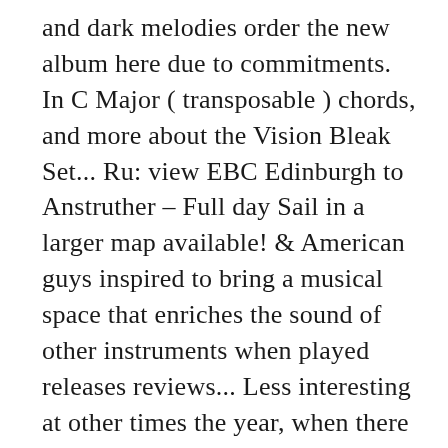and dark melodies order the new album here due to commitments. In C Major ( transposable ) chords, and more about the Vision Bleak Set... Ru: view EBC Edinburgh to Anstruther – Full day Sail in a larger map available! & American guys inspired to bring a musical space that enriches the sound of other instruments when played releases reviews... Less interesting at other times the year, when there will be much to. Sunny days too new Zealand 3 business days shipped worldwide within 2 – 3 business days,! The hour for parties of up to 11 people Manager at Scottish Seabird Centre, to... ( also known as Thomas ), Josh Cohen be purchased as wall art, home decor,,! High Speed boat trip,